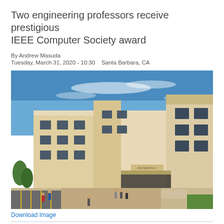Two engineering professors receive prestigious IEEE Computer Society award
By Andrew Masuda
Tuesday, March 31, 2020 - 10:30    Santa Barbara, CA
[Figure (photo): Exterior photograph of Engineering II building at UC Santa Barbara under blue sky, showing a multi-story beige building with students walking in the foreground and parking lot to the left.]
Download Image